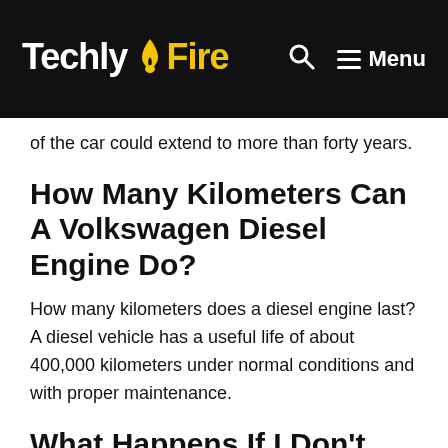TechlyFire | Menu
of the car could extend to more than forty years.
How Many Kilometers Can A Volkswagen Diesel Engine Do?
How many kilometers does a diesel engine last? A diesel vehicle has a useful life of about 400,000 kilometers under normal conditions and with proper maintenance.
What Happens If I Don't Change The Timing Belt?
In cases where the belt unexpectedly breaks or cuts,